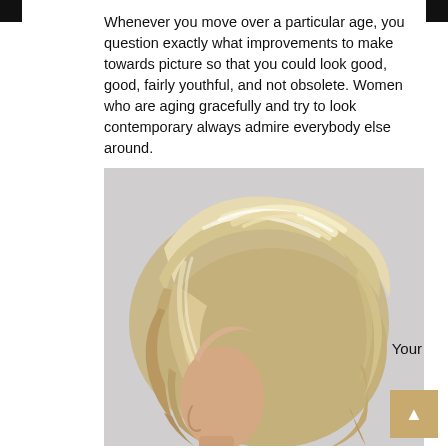Whenever you move over a particular age, you question exactly what improvements to make towards picture so that you could look good, good, fairly youthful, and not obsolete. Women who are aging gracefully and try to look contemporary always admire everybody else around.
[Figure (photo): Close-up side profile of an older woman with a layered, voluminous blonde bob haircut against a light gray background.]
Your